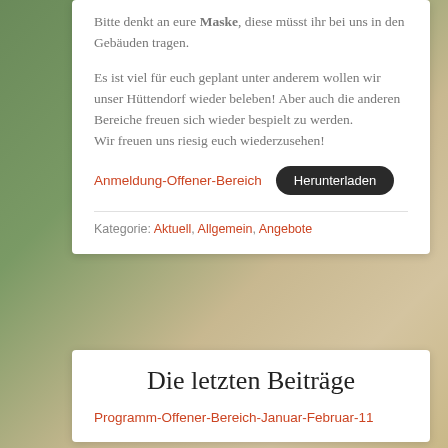Bitte denkt an eure Maske, diese müsst ihr bei uns in den Gebäuden tragen.
Es ist viel für euch geplant unter anderem wollen wir unser Hüttendorf wieder beleben! Aber auch die anderen Bereiche freuen sich wieder bespielt zu werden.
Wir freuen uns riesig euch wiederzusehen!
Anmeldung-Offener-Bereich  Herunterladen
Kategorie: Aktuell, Allgemein, Angebote
Die letzten Beiträge
Programm-Offener-Bereich-Januar-Februar-11 …